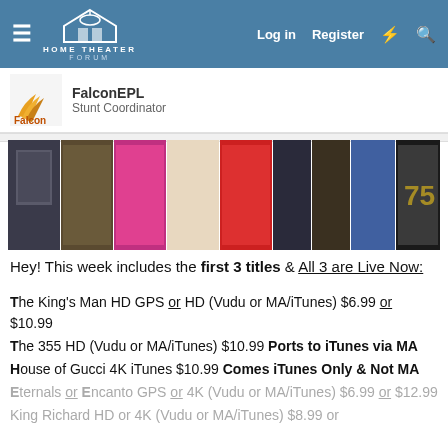HOME THEATER FORUM — Log in | Register
FalconEPL
Stunt Coordinator
[Figure (photo): A horizontal strip of movie poster thumbnails including The King's Man, Encanto, Clifford the Big Red Dog, Antlers, and others]
Hey! This week includes the first 3 titles & All 3 are Live Now:
The King's Man HD GPS or HD (Vudu or MA/iTunes) $6.99 or $10.99
The 355 HD (Vudu or MA/iTunes) $10.99 Ports to iTunes via MA
House of Gucci 4K iTunes $10.99 Comes iTunes Only & Not MA
Eternals or Encanto GPS or 4K (Vudu or MA/iTunes) $6.99 or $12.99
King Richard HD or 4K (Vudu or MA/iTunes) $8.99 or